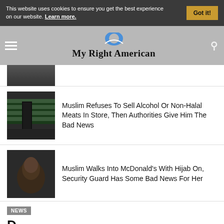This website uses cookies to ensure you get the best experience on our website. Learn more.
My Right American
[Figure (photo): Partially visible top image of a crowd or people]
[Figure (photo): Person in a store with grocery shelves visible]
Muslim Refuses To Sell Alcohol Or Non-Halal Meats In Store, Then Authorities Give Him The Bad News
[Figure (photo): Close-up of a person looking upward]
Muslim Walks Into McDonald's With Hijab On, Security Guard Has Some Bad News For Her
NEWS
D...